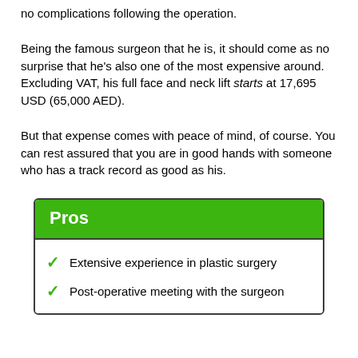no complications following the operation.
Being the famous surgeon that he is, it should come as no surprise that he's also one of the most expensive around. Excluding VAT, his full face and neck lift starts at 17,695 USD (65,000 AED).
But that expense comes with peace of mind, of course. You can rest assured that you are in good hands with someone who has a track record as good as his.
Extensive experience in plastic surgery
Post-operative meeting with the surgeon